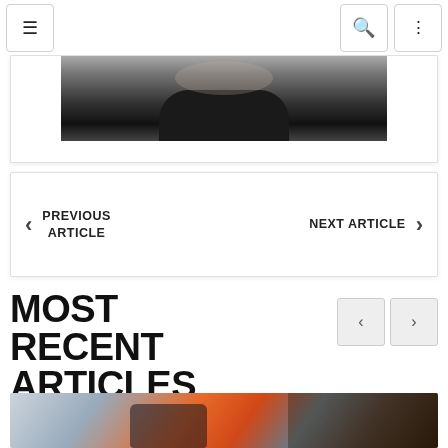Navigation bar with menu, search, and share buttons
[Figure (photo): Partial black and white photo of a person, cropped, showing upper body area against dark background]
PREVIOUS ARTICLE   NEXT ARTICLE
MOST RECENT ARTICLES
[Figure (photo): Photo of a person holding a smartphone outdoors, with blurred orange bokeh lights in the background]